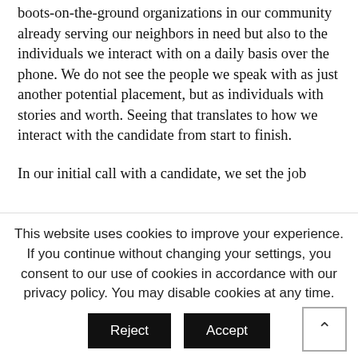mission extends not only to supporting the boots-on-the-ground organizations in our community already serving our neighbors in need but also to the individuals we interact with on a daily basis over the phone. We do not see the people we speak with as just another potential placement, but as individuals with stories and worth. Seeing that translates to how we interact with the candidate from start to finish.
In our initial call with a candidate, we set the job
This website uses cookies to improve your experience. If you continue without changing your settings, you consent to our use of cookies in accordance with our privacy policy. You may disable cookies at any time.